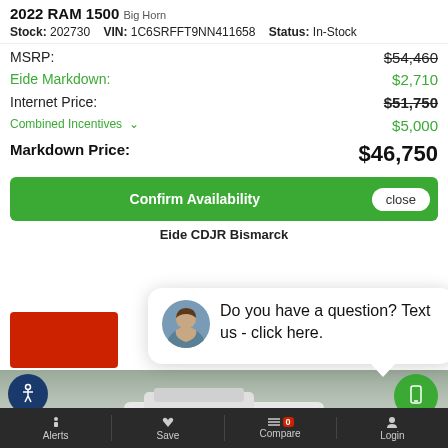2022 RAM 1500 Big Horn
Stock: 202730   VIN: 1C6SRFFT9NN411658   Status: In-Stock
| Label | Value |
| --- | --- |
| MSRP: | $54,460 |
| Eide Markdown: | $2,710 |
| Internet Price: | $51,750 |
| Combined Incentives | $5,000 |
| Markdown Price: | $46,750 |
Confirm Availability
close
Eide CDJR Bismarck
[Figure (photo): Red banner/button area partially visible]
Do you have a question? Text us - click here.
[Figure (photo): Truck photo area showing white pickup truck]
Alerts   Save   Compare 0   Login